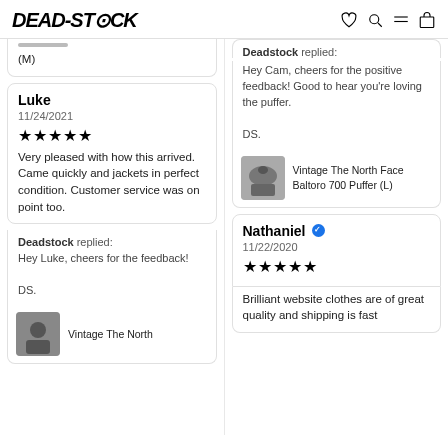DEAD-STOCK
(M)
Luke
11/24/2021
★★★★★
Very pleased with how this arrived. Came quickly and jackets in perfect condition. Customer service was on point too.
Deadstock replied:
Hey Luke, cheers for the feedback!
DS.
Vintage The North
Deadstock replied:
Hey Cam, cheers for the positive feedback! Good to hear you're loving the puffer.
DS.
[Figure (photo): Thumbnail of a North Face Baltoro 700 Puffer jacket]
Vintage The North Face Baltoro 700 Puffer (L)
Nathaniel ✓
11/22/2020
★★★★★
Brilliant website clothes are of great quality and shipping is fast